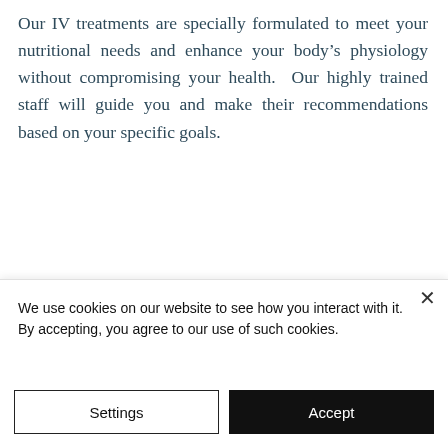Our IV treatments are specially formulated to meet your nutritional needs and enhance your body's physiology without compromising your health. Our highly trained staff will guide you and make their recommendations based on your specific goals.
[Figure (photo): An elderly couple walking with bicycles on a beach, shown in a tilted/parallelogram-framed photo with a light background.]
We use cookies on our website to see how you interact with it. By accepting, you agree to our use of such cookies.